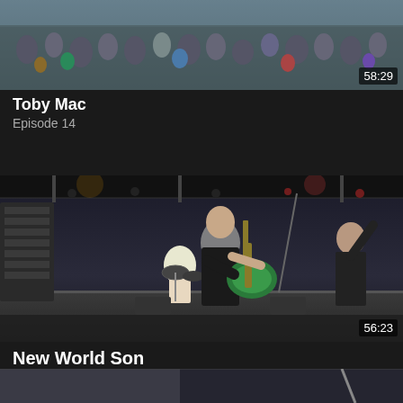[Figure (photo): Concert crowd photo with duration badge 58:29]
Toby Mac
Episode 14
[Figure (photo): Band on stage performing, guitarist in foreground with green guitar, duration badge 56:23]
New World Son
Episode 15
[Figure (photo): Partial thumbnail of another episode at bottom]